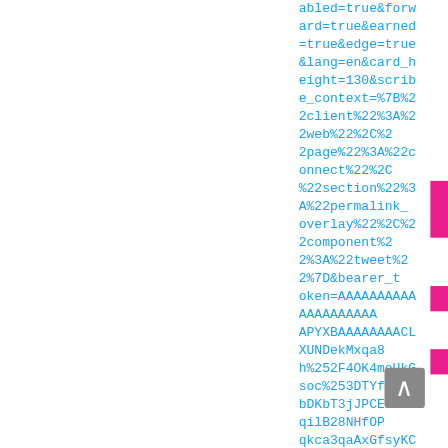abled=true&forward=true&earned=true&edge=true&lang=en&card_height=130&scribe_context=%7B%22client%22%3A%22web%22%2C%22page%22%3A%22connect%22%2C%22section%22%3A%22permalink_overlay%22%2C%22component%22%3A%22tweet%22%7D&bearer_token=AAAAAAAAAAAAAAAAAAAAAPYXBAAAAAAAACLXUNDekMxqa8h%252F4OK4moUkGsoc%253DTYfbDKbT3jJPCEVnMYqilB28NHfOPqkca3qaAxGfsyKCsOwRbw#xdm_e=https%3A%2F%2Ftwitter.com&xdm_c=default713&xdm_p=1
1
5.    1
6.    Steve Keen [This account has not been verified by MetaCert] 13m Minsky is now much improved after funding from [This account has not been verified by MetaCert] @KingstonUni & my